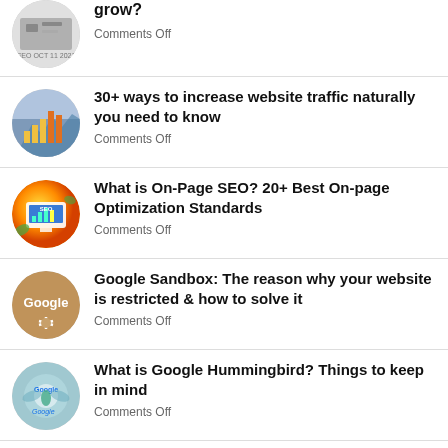grow?
Comments Off
30+ ways to increase website traffic naturally you need to know
Comments Off
What is On-Page SEO? 20+ Best On-page Optimization Standards
Comments Off
Google Sandbox: The reason why your website is restricted & how to solve it
Comments Off
What is Google Hummingbird? Things to keep in mind
Comments Off
Google Penguin: Symptoms, causes and cures
Comments Off